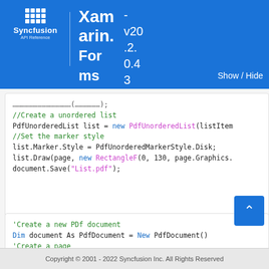Syncfusion API Reference — Xamarin.Forms v20.2.0.43
[Figure (screenshot): Code block 1: C# code showing creation of unordered PDF list with PdfUnorderedList, marker style, draw, and save calls]
[Figure (screenshot): Code block 2: VB.NET code showing creation of PDF document, page, graphics, and products string array]
Copyright © 2001 - 2022 Syncfusion Inc. All Rights Reserved